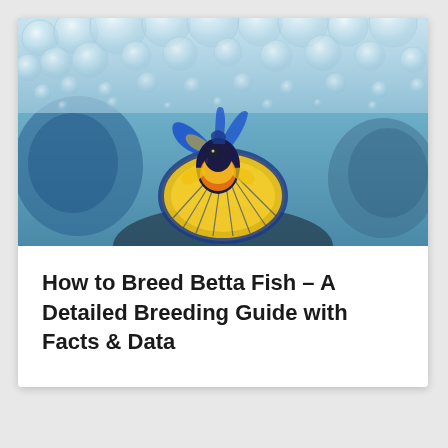[Figure (photo): A colorful betta fish with yellow and blue fins swimming near the water surface with bubbles/bubble nest visible at the top. The background is an aquatic blue environment.]
How to Breed Betta Fish – A Detailed Breeding Guide with Facts & Data